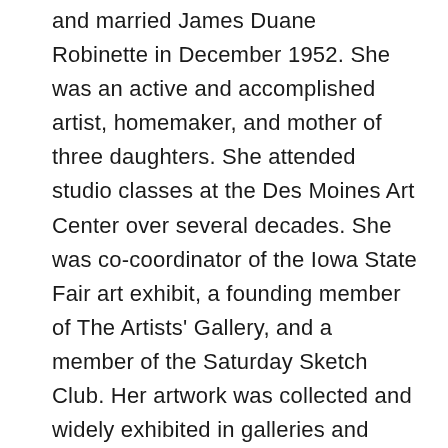and married James Duane Robinette in December 1952. She was an active and accomplished artist, homemaker, and mother of three daughters. She attended studio classes at the Des Moines Art Center over several decades. She was co-coordinator of the Iowa State Fair art exhibit, a founding member of The Artists' Gallery, and a member of the Saturday Sketch Club. Her artwork was collected and widely exhibited in galleries and juried shows, and she won many awards for her paintings.
Laurayne regularly attended and enjoyed fitness classes at the Urbandale Senior Recreation Center. She was active in her local and state church in art